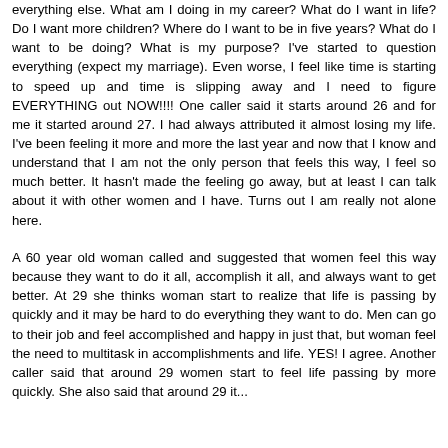everything else. What am I doing in my career? What do I want in life? Do I want more children? Where do I want to be in five years? What do I want to be doing? What is my purpose? I've started to question everything (expect my marriage). Even worse, I feel like time is starting to speed up and time is slipping away and I need to figure EVERYTHING out NOW!!!! One caller said it starts around 26 and for me it started around 27. I had always attributed it almost losing my life. I've been feeling it more and more the last year and now that I know and understand that I am not the only person that feels this way, I feel so much better. It hasn't made the feeling go away, but at least I can talk about it with other women and I have. Turns out I am really not alone here.
A 60 year old woman called and suggested that women feel this way because they want to do it all, accomplish it all, and always want to get better. At 29 she thinks woman start to realize that life is passing by quickly and it may be hard to do everything they want to do. Men can go to their job and feel accomplished and happy in just that, but woman feel the need to multitask in accomplishments and life. YES! I agree. Another caller said that around 29 women start to feel life passing by more quickly. She also said that around 29 it...